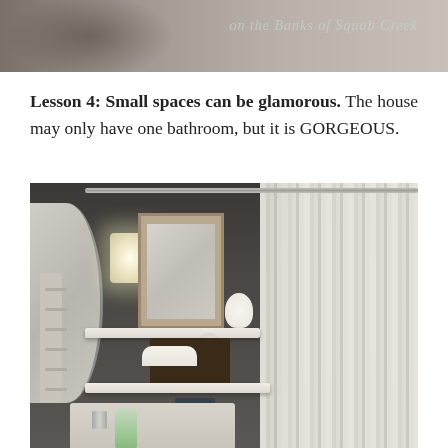[Figure (photo): Partial view of a blog header image showing handwritten script text reading 'on the Banks of Squab Creek' on a muted background]
Lesson 4: Small spaces can be glamorous.  The house may only have one bathroom, but it is GORGEOUS.
[Figure (photo): Interior photo of a glamorous small bathroom featuring dark gray walls, a round mirror, wall sconce light, white floating shelves with framed art, towels and accessories in a dark basket, striped white shower curtain, and a marble-look countertop with soap dispenser]